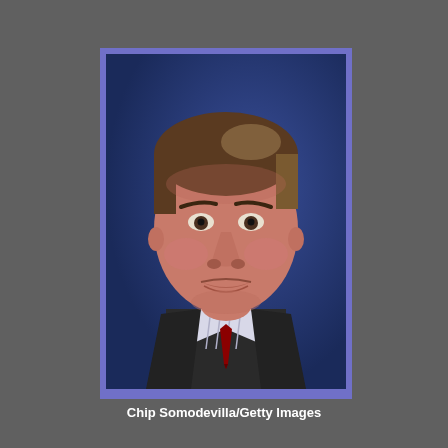[Figure (photo): Portrait photo of a man with brown hair wearing a dark suit jacket with a striped shirt and tie, looking upward with a stern expression against a dark blue background. Photo credit: Chip Somodevilla/Getty Images.]
Chip Somodevilla/Getty Images